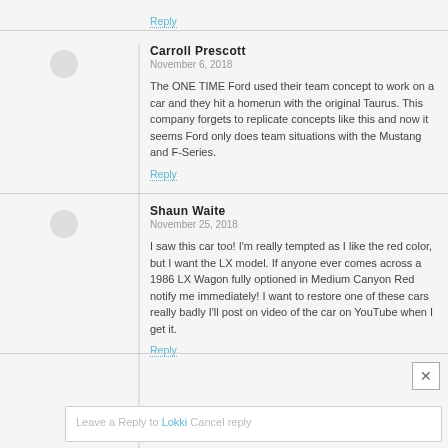Reply
Carroll Prescott
November 6, 2018

The ONE TIME Ford used their team concept to work on a car and they hit a homerun with the original Taurus. This company forgets to replicate concepts like this and now it seems Ford only does team situations with the Mustang and F-Series.
Reply
Shaun Waite
November 25, 2018

I saw this car too! I'm really tempted as I like the red color, but I want the LX model. If anyone ever comes across a 1986 LX Wagon fully optioned in Medium Canyon Red notify me immediately! I want to restore one of these cars really badly I'll post on video of the car on YouTube when I get it.
Reply
Leave a Reply to Lokki Cancel reply